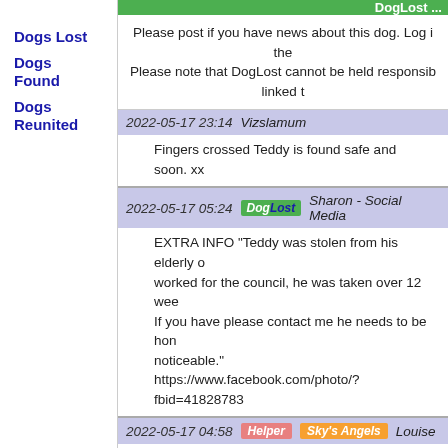Dogs Lost
Dogs Found
Dogs Reunited
Please post if you have news about this dog. Log i... the...
Please note that DogLost cannot be held responsib... linked t...
2022-05-17 23:14   Vizslamum
Fingers crossed Teddy is found safe and soon. xx...
2022-05-17 05:24   [DogLost]   Sharon - Social Media
EXTRA INFO "Teddy was stolen from his elderly o... worked for the council, he was taken over 12 wee... If you have please contact me he needs to be hon... noticeable."
https://www.facebook.com/photo/?fbid=41828783...
2022-05-17 04:58   [Helper]   [Sky's Angels]   Louise
Shared to Lost and Found Pets UK and Sky's Ang...
2022-05-17 04:15   [DogLost]   Sharon - Social Media
Shared to our National DogLost FB group x
2022-05-16 21:44   Melly Smith
Thank you for changimg xx
2022-05-16 21:24   [DogLost]   www.facebook.com   N...